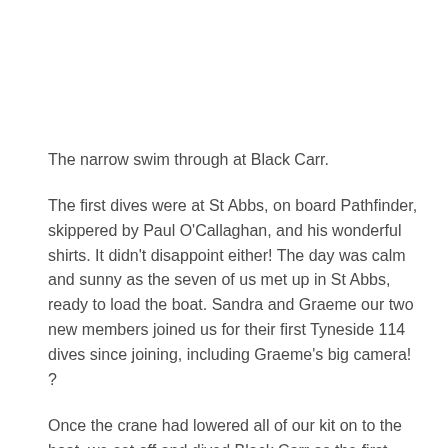The narrow swim through at Black Carr.
The first dives were at St Abbs, on board Pathfinder, skippered by Paul O'Callaghan, and his wonderful shirts. It didn't disappoint either! The day was calm and sunny as the seven of us met up in St Abbs, ready to load the boat. Sandra and Graeme our two new members joined us for their first Tyneside 114 dives since joining, including Graeme's big camera! ?
Once the crane had lowered all of our kit on to the boat, we set off and dived Black Carr as the first dive. We all jumped in and tried to find the swim through, I think we all